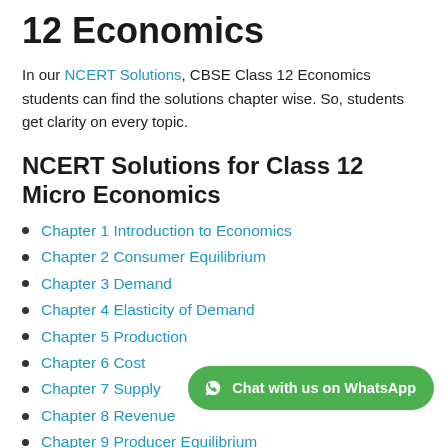12 Economics
In our NCERT Solutions, CBSE Class 12 Economics students can find the solutions chapter wise. So, students get clarity on every topic.
NCERT Solutions for Class 12 Micro Economics
Chapter 1 Introduction to Economics
Chapter 2 Consumer Equilibrium
Chapter 3 Demand
Chapter 4 Elasticity of Demand
Chapter 5 Production
Chapter 6 Cost
Chapter 7 Supply
Chapter 8 Revenue
Chapter 9 Producer Equilibrium